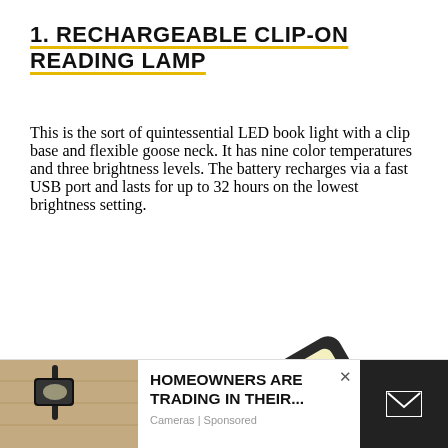1. RECHARGEABLE CLIP-ON READING LAMP
This is the sort of quintessential LED book light with a clip base and flexible goose neck. It has nine color temperatures and three brightness levels. The battery recharges via a fast USB port and lasts for up to 32 hours on the lowest brightness setting.
[Figure (photo): Partial photo of a rechargeable clip-on reading lamp showing the LED panel with warm yellow-white light on a black body, photographed against a white background]
[Figure (photo): Advertisement banner at the bottom with a photo of a black outdoor lamp on a wall on the left, text reading HOMEOWNERS ARE TRADING IN THEIR... Cameras | Sponsored in the center, and a dark section with an envelope icon on the right]